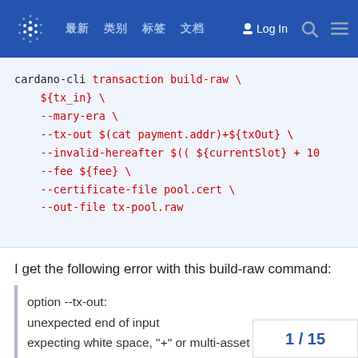[Figure (screenshot): Cardano forum navigation bar with logo, nav links, Log In button, search and menu icons]
cardano-cli transaction build-raw \
    ${tx_in} \
    --mary-era \
    --tx-out $(cat payment.addr)+${txOut} \
    --invalid-hereafter $(( ${currentSlot} + 10
    --fee ${fee} \
    --certificate-file pool.cert \
    --out-file tx-pool.raw
I get the following error with this build-raw command:
option --tx-out:
unexpected end of input
expecting white space, "+" or multi-asset value expression
Checked for odd spacing and I tried copying command and just changing name of output file but it build the same file.